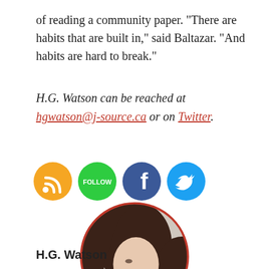of reading a community paper. “There are habits that are built in,” said Baltazar. “And habits are hard to break.”
H.G. Watson can be reached at hgwatson@j-source.ca or on Twitter.
[Figure (other): Four social media icon buttons: RSS (orange), Follow (green), Facebook (dark blue), Twitter (light blue)]
[Figure (photo): Circular portrait photo of H.G. Watson, a woman with dark wavy hair, looking to the side, framed with a red circular border.]
H.G. Watson